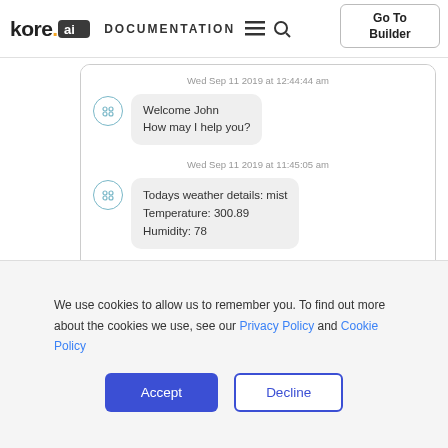kore.ai DOCUMENTATION | Go To Builder
[Figure (screenshot): Chat widget showing bot conversation. First message: Wed Sep 11 2019 at 12:44:44 am - 'Welcome John How may I help you?'. Second message: Wed Sep 11 2019 at 11:45:05 am - 'Todays weather details: mist Temperature: 300.89 Humidity: 78'. Message input bar with placeholder 'Message...' and 'Press enter to send'.]
We use cookies to allow us to remember you. To find out more about the cookies we use, see our Privacy Policy and Cookie Policy
Accept
Decline